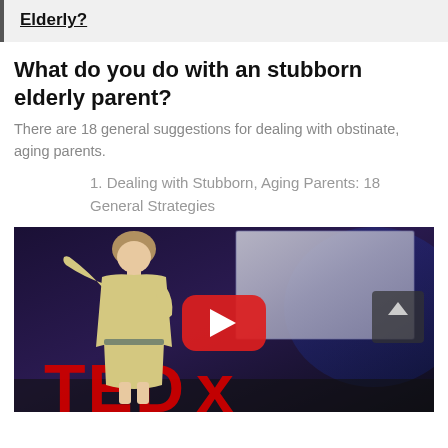Elderly?
What do you do with an stubborn elderly parent?
There are 18 general suggestions for dealing with obstinate, aging parents.
1. Dealing with Stubborn, Aging Parents: 18 General Strategies
[Figure (screenshot): A TEDx talk video thumbnail showing a woman speaker in a yellow outfit gesturing on a stage with a large screen behind her and TEDx lettering at the bottom. A YouTube play button overlay is centered on the image.]